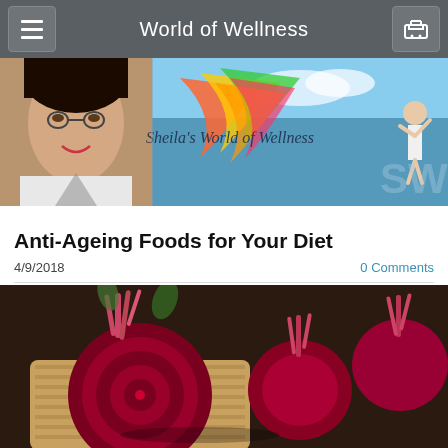World of Wellness
[Figure (photo): Website banner showing Sheila's World of Wellness with a woman holding colorful scarves against a blue sky, and a portrait photo on the left]
Anti-Ageing Foods for Your Diet
4/9/2018
0 Comments
[Figure (photo): Close-up photo of fresh red beetroots, some cut in half, on a wooden cutting board against a dark textured background]